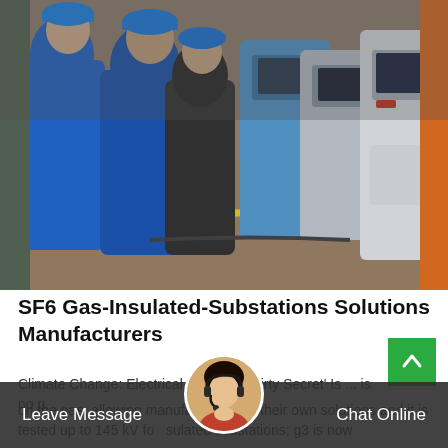[Figure (photo): Industrial photo showing workers in blue hard hats and overalls inspecting electrical equipment (SF6 gas-insulated substation equipment) in a factory or facility setting. Yellow safety stripe visible on floor.]
SF6 Gas-Insulated-Substations Solutions Manufacturers
Climate Change: Electrical Industry's 'dirty Secret' Is ... is no p
on the gas, allowing manufac evelop their own solutions and it is tested up to 145 kV fo sulated substations; g3 is now
Leave Message
Chat Online